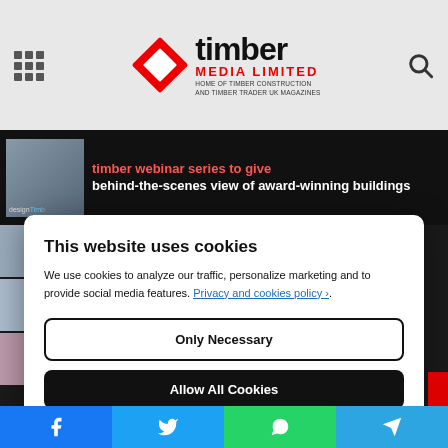[Figure (screenshot): Timber Media Limited website header with logo (red diamond, 'timber' text, 'MEDIA LIMITED' subtitle), navigation grid icon on left, search icon on right]
timber webinar series to give behind-the-scenes view of award-winning buildings
This website uses cookies
We use cookies to analyze our traffic, personalize marketing and to provide social media features. Privacy and cookies policy ›.
Only Necessary
Allow All Cookies
Configure Settings ›
[Figure (infographic): Social sharing bar at bottom with Facebook, Twitter, WhatsApp, and Telegram icons]